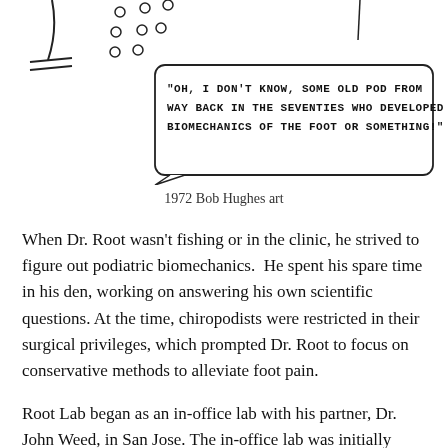[Figure (illustration): Hand-drawn cartoon illustration showing a fishing scene with stick figures, circles (bubbles), and a speech bubble containing handwritten text: 'OH, I DON'T KNOW, SOME OLD POD FROM WAY BACK IN THE SEVENTIES WHO DEVELOPED BIOMECHANICS OF THE FOOT OR SOMETHING!']
1972 Bob Hughes art
When Dr. Root wasn't fishing or in the clinic, he strived to figure out podiatric biomechanics. He spent his spare time in his den, working on answering his own scientific questions. At the time, chiropodists were restricted in their surgical privileges, which prompted Dr. Root to focus on conservative methods to alleviate foot pain.
Root Lab began as an in-office lab with his partner, Dr. John Weed, in San Jose. The in-office lab was initially created for the production and distribution of functional orthoses to their own patients. At that time, Dr. Root was lecturing on biomechanics, foot